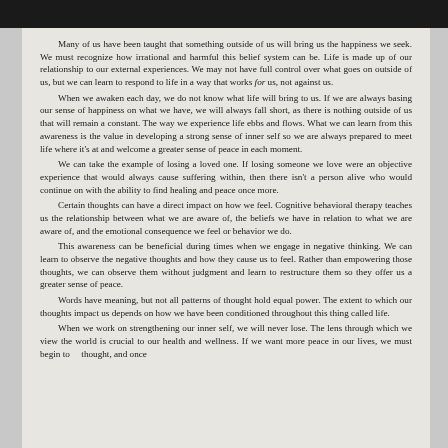Many of us have been taught that something outside of us will bring us the happiness we seek. We must recognize how irrational and harmful this belief system can be. Life is made up of our relationship to our external experiences. We may not have full control over what goes on outside of us, but we can learn to respond to life in a way that works for us, not against us.

When we awaken each day, we do not know what life will bring to us. If we are always basing our sense of happiness on what we have, we will always fall short, as there is nothing outside of us that will remain a constant. The way we experience life ebbs and flows. What we can learn from this awareness is the value in developing a strong sense of inner self so we are always prepared to meet life where it's at and welcome a greater sense of peace in each moment.

We can take the example of losing a loved one. If losing someone we love were an objective experience that would always cause suffering within, then there isn't a person alive who would continue on with the ability to find healing and peace once more.

Certain thoughts can have a direct impact on how we feel. Cognitive behavioral therapy teaches us the relationship between what we are aware of, the beliefs we have in relation to what we are aware of, and the emotional consequence we feel or behavior we do.

This awareness can be beneficial during times when we engage in negative thinking. We can learn to observe the negative thoughts and how they cause us to feel. Rather than empowering those thoughts, we can observe them without judgment and learn to restructure them so they offer us a greater sense of peace.

Words have meaning, but not all patterns of thought hold equal power. The extent to which our thoughts impact us depends on how we have been conditioned throughout this thing called life.

When we work on strengthening our inner self, we will never lose. The lens through which we view the world is crucial to our health and wellness. If we want more peace in our lives, we must begin to and once